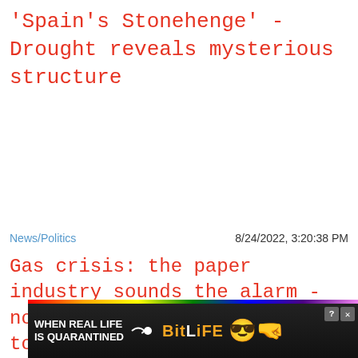'Spain's Stonehenge' - Drought reveals mysterious structure
News/Politics
8/24/2022, 3:20:38 PM
Gas crisis: the paper industry sounds the alarm - now there is a threat of a toilet paper shortage again
[Figure (screenshot): Close X button overlay and BitLife advertisement banner at the bottom of the page with rainbow colors and emoji]